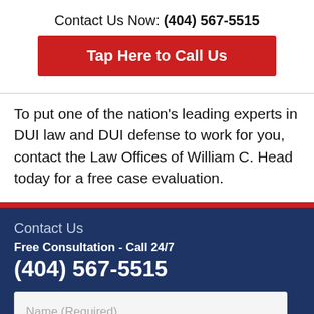Contact Us Now: (404) 567-5515
Tap Here to Call Us
To put one of the nation's leading experts in DUI law and DUI defense to work for you, contact the Law Offices of William C. Head today for a free case evaluation.
Contact Us
Free Consultation - Call 24/7
(404) 567-5515
Name (Required)